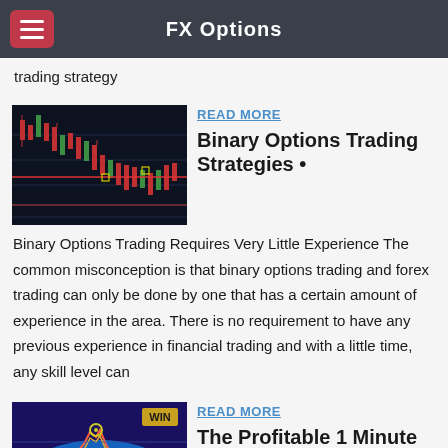FX Options
trading strategy
[Figure (screenshot): Candlestick chart showing trading data with red and green candles on dark background]
READ MORE
Binary Options Trading Strategies •
Binary Options Trading Requires Very Little Experience The common misconception is that binary options trading and forex trading can only be done by one that has a certain amount of experience in the area. There is no requirement to have any previous experience in financial trading and with a little time, any skill level can
[Figure (screenshot): Line chart showing win/loss trading strategy on blue/dark background with WIN labels]
READ MORE
The Profitable 1 Minute Binary Options Strategy -